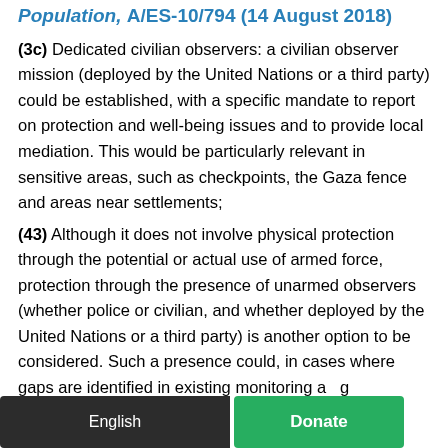Population, A/ES-10/794 (14 August 2018)
(3c) Dedicated civilian observers: a civilian observer mission (deployed by the United Nations or a third party) could be established, with a specific mandate to report on protection and well-being issues and to provide local mediation. This would be particularly relevant in sensitive areas, such as checkpoints, the Gaza fence and areas near settlements;
(43) Although it does not involve physical protection through the potential or actual use of armed force, protection through the presence of unarmed observers (whether police or civilian, and whether deployed by the United Nations or a third party) is another option to be considered. Such a presence could, in cases where gaps are identified in existing monitoring and reporting mechanisms, be deployed